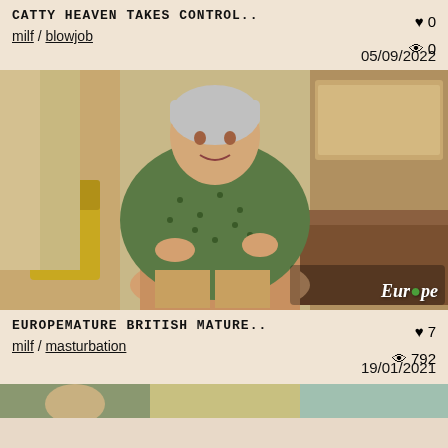CATTY HEAVEN TAKES CONTROL..
milf / blowjob
♥ 0  👁 0  05/09/2022
[Figure (photo): Woman in green floral dress sitting near a desk]
EUROPEMATURE BRITISH MATURE..
milf / masturbation
♥ 7  👁 792  19/01/2021
[Figure (photo): Partial image visible at bottom of page]